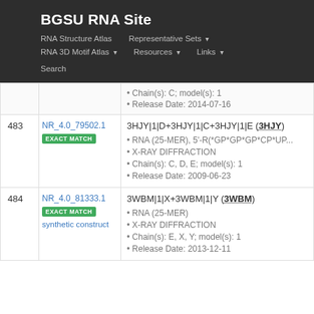BGSU RNA Site
RNA Structure Atlas | Representative Sets ▾ | RNA 3D Motif Atlas ▾ | Resources ▾ | Links ▾ | Search
| # | ID | Details |
| --- | --- | --- |
|  |  | Chain(s): C; model(s): 1
Release Date: 2014-07-16 |
| 483 | NR_4.0_79502.1
EXACT MATCH | 3HJY|1|D+3HJY|1|C+3HJY|1|E (3HJY)
RNA (25-MER), 5'-R(*GP*GP*GP*CP*UP...
X-RAY DIFFRACTION
Chain(s): C, D, E; model(s): 1
Release Date: 2009-06-23 |
| 484 | NR_4.0_81333.1
EXACT MATCH
synthetic construct | 3WBM|1|X+3WBM|1|Y (3WBM)
RNA (25-MER)
X-RAY DIFFRACTION
Chain(s): E, X, Y; model(s): 1
Release Date: 2013-12-11 |